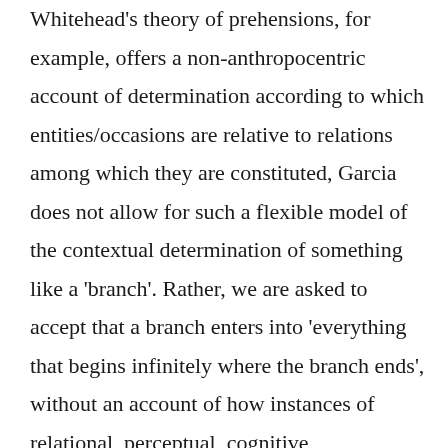Whitehead's theory of prehensions, for example, offers a non-anthropocentric account of determination according to which entities/occasions are relative to relations among which they are constituted, Garcia does not allow for such a flexible model of the contextual determination of something like a 'branch'. Rather, we are asked to accept that a branch enters into 'everything that begins infinitely where the branch ends', without an account of how instances of relational, perceptual, cognitive, conventional, linguistic or scientific determination might distinguish the beginning of the branch from the trunk of the tree. The point of such an objection is not at all to discredit Garcia's whole project by regarding it with self-satisfied Kantian scorn; it is simply to point out why the book's metaphysics